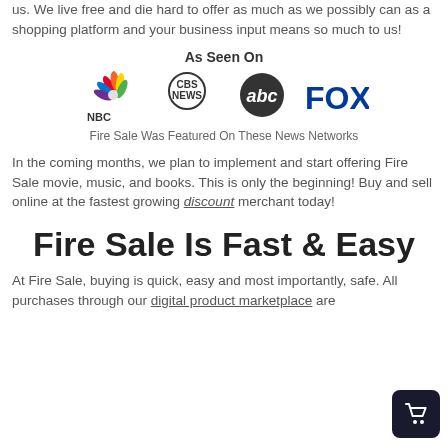us. We live free and die hard to offer as much as we possibly can as a shopping platform and your business input means so much to us!
[Figure (logo): As Seen On logos: NBC, CBS NEWS, abc, FOX]
Fire Sale Was Featured On These News Networks
In the coming months, we plan to implement and start offering Fire Sale movie, music, and books. This is only the beginning! Buy and sell online at the fastest growing discount merchant today!
Fire Sale Is Fast & Easy
At Fire Sale, buying is quick, easy and most importantly, safe. All purchases through our digital product marketplace are